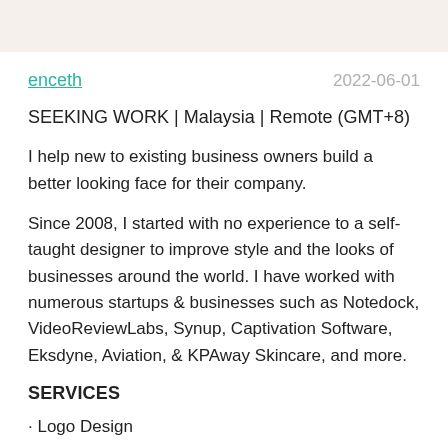enceth	2022-06-01
SEEKING WORK | Malaysia | Remote (GMT+8)
I help new to existing business owners build a better looking face for their company.
Since 2008, I started with no experience to a self-taught designer to improve style and the looks of businesses around the world. I have worked with numerous startups & businesses such as Notedock, VideoReviewLabs, Synup, Captivation Software, Eksdyne, Aviation, & KPAway Skincare, and more.
SERVICES
· Logo Design